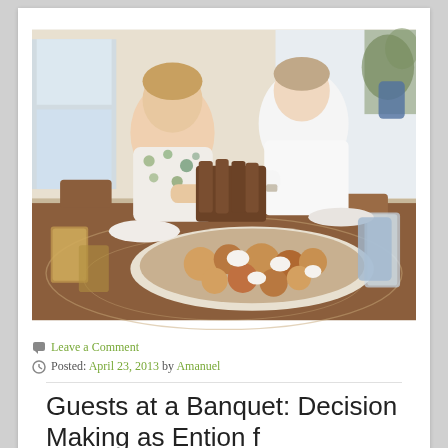[Figure (photo): Two men sitting at a dining table with a large platter of food in front of them. The man on the left wears a floral shirt; the man on the right wears a white dress shirt. The table has drinks, plates, and various dishes.]
Leave a Comment
Posted: April 23, 2013 by Amanuel
Guests at a Banquet: Decision Making as Ention f